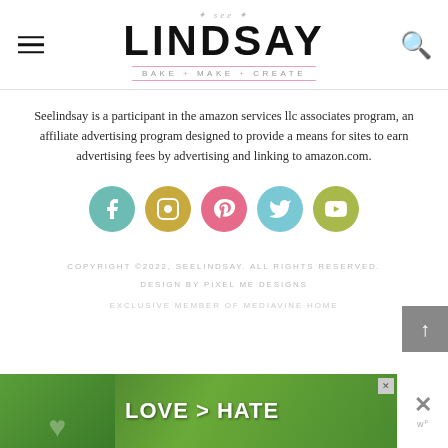see LINDSAY BAKE + MAKE + CREATE
Seelindsay is a participant in the amazon services llc associates program, an affiliate advertising program designed to provide a means for sites to earn advertising fees by advertising and linking to amazon.com.
[Figure (infographic): Five social media icons in colored circles: Facebook (teal), Instagram (gold/yellow), Pinterest (pink), Twitter (light blue), YouTube (olive/green)]
COPYRIGHT ©2022, SEELINDSAY. ALL RIGHTS RESERVED. DESIGN BY PIXEL ME DESIGNS EXCLUSIVE MEMBER OF MEDIAVINE HOME
[Figure (photo): Advertisement banner showing hands forming a heart shape with text LOVE > HATE on a green nature background]